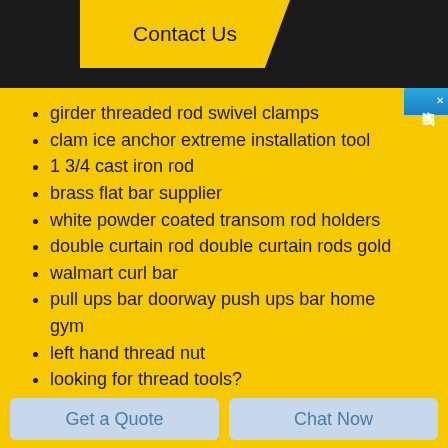Contact Us
girder threaded rod swivel clamps
clam ice anchor extreme installation tool
1 3/4 cast iron rod
brass flat bar supplier
white powder coated transom rod holders
double curtain rod double curtain rods gold
walmart curl bar
pull ups bar doorway push ups bar home gym
left hand thread nut
looking for thread tools?
best sewing thread for sewing machine
otc 7402 universal outside thread chaser
metal toggle bolts
upcycled bedhead with dowel
what does rock anchor mean in construction?
Get a Quote
Chat Now